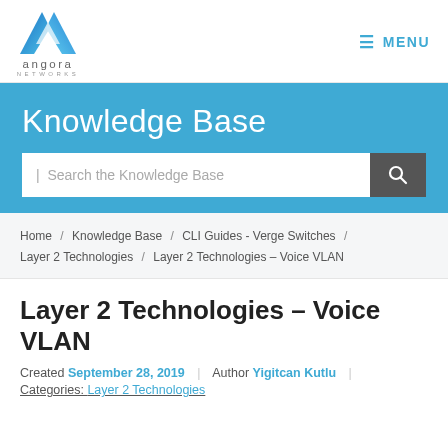[Figure (logo): Angora Networks logo: blue 'A' triangle shape with 'angora' text and 'NETWORKS' subtitle below]
≡ MENU
Knowledge Base
Search the Knowledge Base
Home / Knowledge Base / CLI Guides - Verge Switches / Layer 2 Technologies / Layer 2 Technologies – Voice VLAN
Layer 2 Technologies – Voice VLAN
Created September 28, 2019 | Author Yigitcan Kutlu |
Categories: Layer 2 Technologies